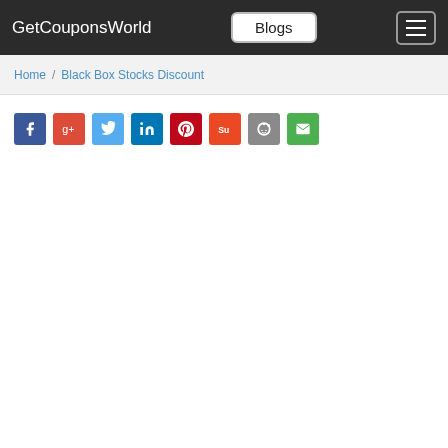GetCouponsWorld  Blogs  [menu]
Home / Black Box Stocks Discount
[Figure (other): Row of social sharing icon buttons: Facebook (blue), Google+ (red), Twitter (light blue), LinkedIn (dark blue), Pinterest (dark red), StumbleUpon (orange), Reddit (grey), Email (green)]